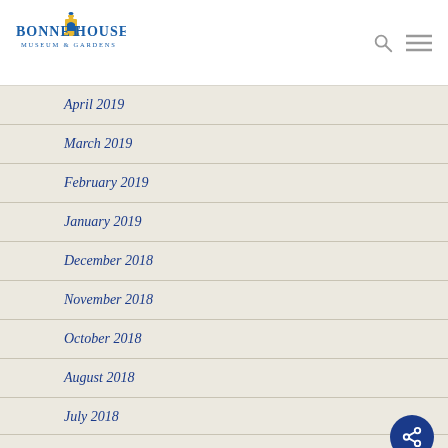[Figure (logo): Bonnet House Museum & Gardens logo with blue text and yellow building icon]
April 2019
March 2019
February 2019
January 2019
December 2018
November 2018
October 2018
August 2018
July 2018